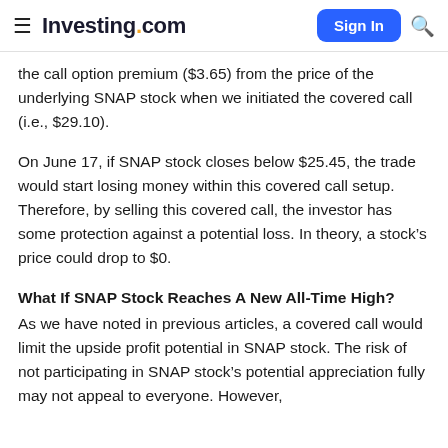Investing.com
the call option premium ($3.65) from the price of the underlying SNAP stock when we initiated the covered call (i.e., $29.10).
On June 17, if SNAP stock closes below $25.45, the trade would start losing money within this covered call setup. Therefore, by selling this covered call, the investor has some protection against a potential loss. In theory, a stock’s price could drop to $0.
What If SNAP Stock Reaches A New All-Time High?
As we have noted in previous articles, a covered call would limit the upside profit potential in SNAP stock. The risk of not participating in SNAP stock’s potential appreciation fully may not appeal to everyone. However,